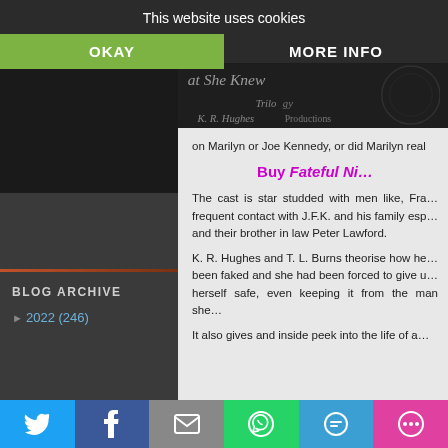This website uses cookies
OKAY
MORE INFO
BLOG ARCHIVE
► 2022 (246)
[Figure (screenshot): Dark banner image with cursive/italic text partially visible]
on Marilyn or Joe Kennedy, or did Marilyn real
Buy Fateful Ni…
The cast is star studded with men like, Fra… frequent contact with J.F.K. and his family esp… and their brother in law Peter Lawford.
K. R. Hughes and T. L. Burns theorise how he… been faked and she had been forced to give u… herself safe, even keeping it from the man she…
It also gives and inside peek into the life of a…
[Figure (infographic): Social share bar with Twitter, Facebook, Email, WhatsApp, SMS, More buttons]